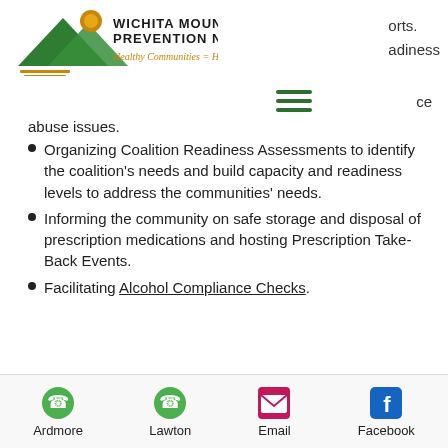[Figure (logo): Wichita Mountains Prevention Network logo with mountain and sun graphic and tagline 'Healthy Communities = Healthy Youth']
orts.
udiness
ce
abuse issues.
Organizing Coalition Readiness Assessments to identify the coalition's needs and build capacity and readiness levels to address the communities' needs.
Informing the community on safe storage and disposal of prescription medications and hosting Prescription Take-Back Events.
Facilitating Alcohol Compliance Checks.
Ardmore   Lawton   Email   Facebook